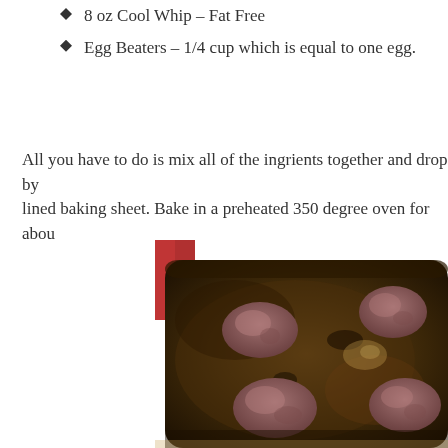8 oz Cool Whip – Fat Free
Egg Beaters – 1/4 cup which is equal to one egg.
All you have to do is mix all of the ingrients together and drop by lined baking sheet. Bake in a preheated 350 degree oven for abou
[Figure (photo): Photo of chocolate cookie dough balls dropped onto a dark baking sheet, ready to bake.]